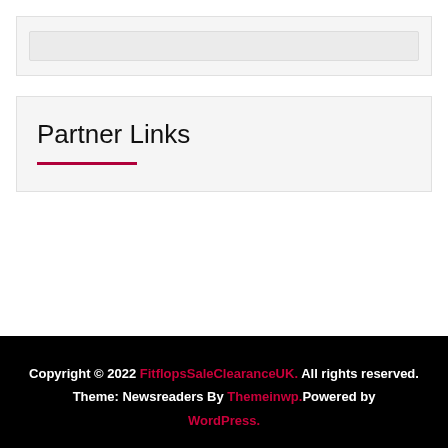[Figure (other): Top widget box with a search/input bar inside]
Partner Links
Copyright © 2022 FitflopsSaleClearanceUK. All rights reserved. Theme: Newsreaders By Themeinwp. Powered by WordPress.